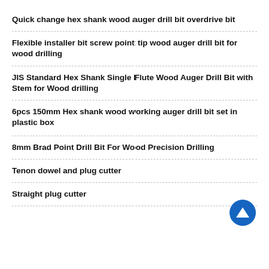Quick change hex shank wood auger drill bit overdrive bit
Flexible installer bit screw point tip wood auger drill bit for wood drilling
JIS Standard Hex Shank Single Flute Wood Auger Drill Bit with Stem for Wood drilling
6pcs 150mm Hex shank wood working auger drill bit set in plastic box
8mm Brad Point Drill Bit For Wood Precision Drilling
Tenon dowel and plug cutter
Straight plug cutter